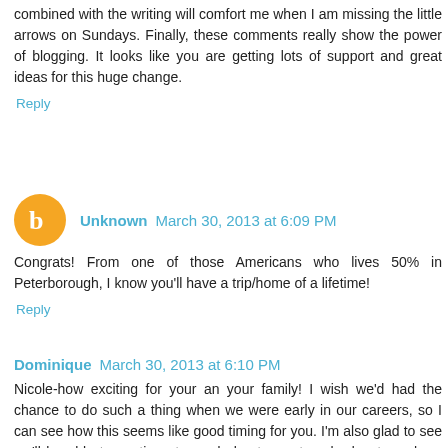combined with the writing will comfort me when I am missing the little arrows on Sundays. Finally, these comments really show the power of blogging. It looks like you are getting lots of support and great ideas for this huge change.
Reply
Unknown  March 30, 2013 at 6:09 PM
Congrats! From one of those Americans who lives 50% in Peterborough, I know you'll have a trip/home of a lifetime!
Reply
Dominique  March 30, 2013 at 6:10 PM
Nicole-how exciting for your an your family! I wish we'd had the chance to do such a thing when we were early in our careers, so I can see how this seems like good timing for you. I'm also glad to see we'll be able to continue to read about your travel adventures here on your blog, and I love that you've already lined up a relationship with another